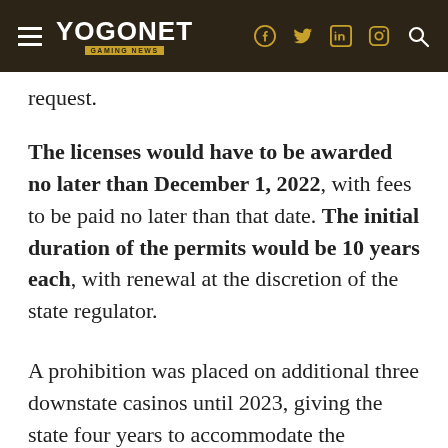YOGONET GAMING NEWS
request.
The licenses would have to be awarded no later than December 1, 2022, with fees to be paid no later than that date. The initial duration of the permits would be 10 years each, with renewal at the discretion of the state regulator.
A prohibition was placed on additional three downstate casinos until 2023, giving the state four years to accommodate the